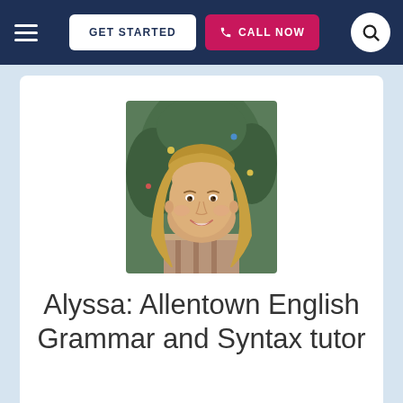GET STARTED | CALL NOW
[Figure (photo): Portrait photo of Alyssa, a young woman with long blonde hair, smiling, with a Christmas tree in the background]
Alyssa: Allentown English Grammar and Syntax tutor